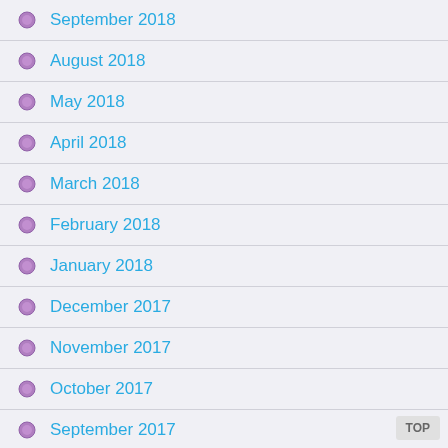September 2018
August 2018
May 2018
April 2018
March 2018
February 2018
January 2018
December 2017
November 2017
October 2017
September 2017
August 2017
July 2017
June 2017
May 2017